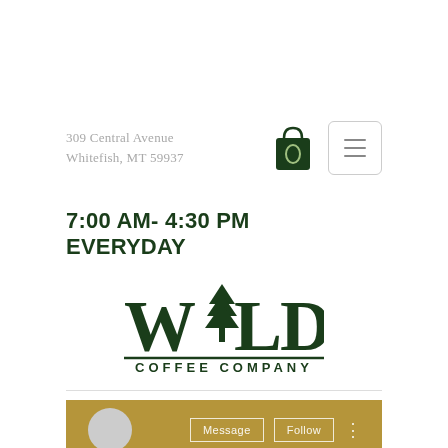309 Central Avenue
Whitefish, MT 59937
[Figure (illustration): Shopping bag icon with 0 and hamburger menu button]
7:00 AM- 4:30 PM
EVERYDAY
[Figure (logo): Wild Coffee Company logo with pine tree replacing the 'i' in Wild]
[Figure (other): Gold/tan footer area with circular avatar, Message button, Follow button, and more options dots]